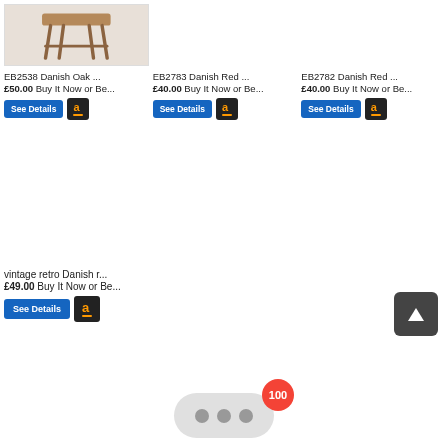[Figure (photo): Photo of a wooden stool with rustic oak legs on white background]
EB2538 Danish Oak ...
£50.00 Buy It Now or Be...
EB2783 Danish Red ...
£40.00 Buy It Now or Be...
EB2782 Danish Red ...
£40.00 Buy It Now or Be...
vintage retro Danish r...
£49.00 Buy It Now or Be...
[Figure (screenshot): Scroll to top button (dark square with upward arrow)]
[Figure (infographic): Notification bubble with 100 badge and three dots]